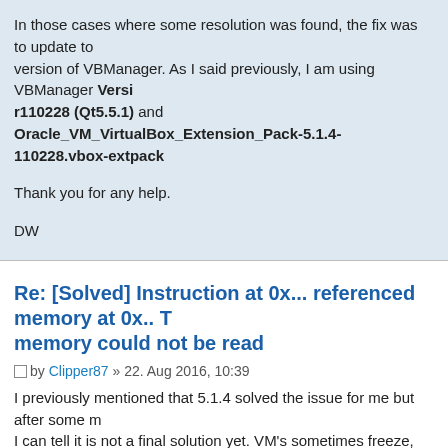In those cases where some resolution was found, the fix was to update to version of VBManager. As I said previously, I am using VBManager Version r110228 (Qt5.5.1) and Oracle_VM_VirtualBox_Extension_Pack-5.1.4-r110228.vbox-extpack

Thank you for any help.

DW
Re: [Solved] Instruction at 0x... referenced memory at 0x.. The memory could not be read
by Clipper87 » 22. Aug 2016, 10:39
I previously mentioned that 5.1.4 solved the issue for me but after some more testing I can tell it is not a final solution yet. VM's sometimes freeze, Especially when setting up a new w8.1 vm I got a stalled vm several times. Rebooting windows (anniversary update) solved the issue.
On one VM where I use serial port COM1 coupled to the host's COM3 I encountered the memory error when shutting down.

@DW : what OS are you on (forgive me you may have mentioned it but I didn't see that right away)

I'm strongly suspecting the buggiest windows version ever: windows 10